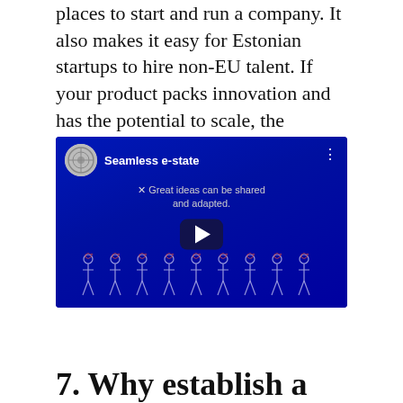places to start and run a company. It also makes it easy for Estonian startups to hire non-EU talent. If your product packs innovation and has the potential to scale, the Estonian Startup Visa may be just the ticket.
[Figure (screenshot): YouTube-style video thumbnail with dark blue background showing 'Seamless e-state' title, a circular logo/seal, subtitle text 'Great ideas can be shared and adapted.', a play button, and row of person icons at the bottom.]
7. Why establish a company in Estonia?